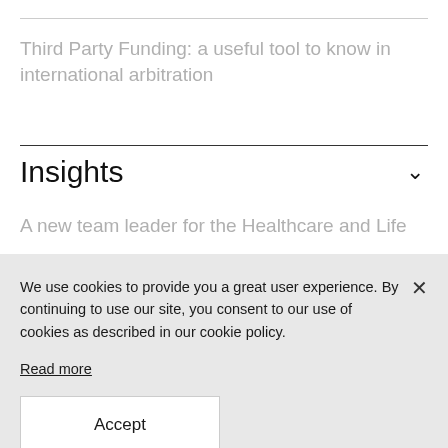Third Party Funding: a useful tool to know in international arbitration
Insights
A new team leader for the Healthcare and Life
We use cookies to provide you a great user experience. By continuing to use our site, you consent to our use of cookies as described in our cookie policy.
Read more
Accept